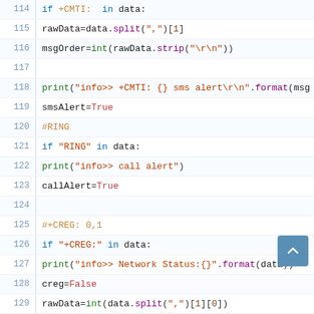Code listing showing Python code lines 114-143 with syntax highlighting. Code handles AT command responses for SMS/call alerts and network status.
114: if +CMTI: in data:
115: rawData=data.split(",")[1]
116: msgOrder=int(rawData.strip("\r\n"))
117: (blank)
118: print("info>> +CMTI: {} sms alert\r\n".format(msg
119: smsAlert=True
120: #RING
121: if "RING" in data:
122: print("info>> call alert")
123: callAlert=True
124: (blank)
125: #+CREG: 0,1
126: if "+CREG:" in data:
127: print("info>> Network Status:{}".format(data))
128: creg=False
129: rawData=int(data.split(",")[1][0])
130: if rawData==1:
131: creg=True
132: else:
133: creg=False
134: print("info>> CREG: {}\r\n".format(creg))
135: #+CSQ: 21,0
136: if "+CSQ:" in data:
137: rawData=data.split(",")[0]
138: rawData=rawData.split(":")[1]
139: rssi=int(rawData.strip())
140: level=""
141: if 2<rssi<30:
142: level="Normal"
143: elif rssi==31: